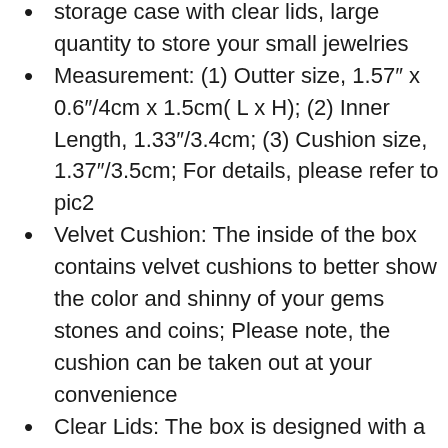storage case with clear lids, large quantity to store your small jewelries
Measurement: (1) Outter size, 1.57″ x 0.6″/4cm x 1.5cm( L x H); (2) Inner Length, 1.33″/3.4cm; (3) Cushion size, 1.37″/3.5cm; For details, please refer to pic2
Velvet Cushion: The inside of the box contains velvet cushions to better show the color and shinny of your gems stones and coins; Please note, the cushion can be taken out at your convenience
Clear Lids: The box is designed with a clear lid, not only to store gems, also can show off your gems
Convenient to Use: The corner of the boxes are smooth to use, also the box